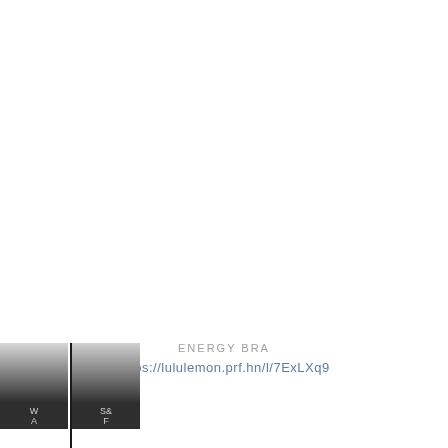ENERGY BRA
https://lululemon.prf.hn/l/7ExLXq9
[Figure (other): Partially visible gradient image strip at bottom-left corner showing dark gradient panels with faint text labels]